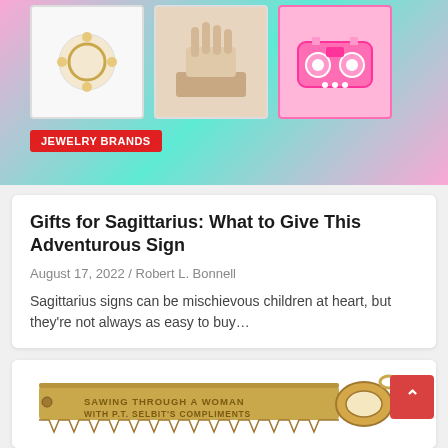[Figure (photo): Top banner with colorful background (pink and teal) showing three product thumbnails: a jewelry charm, a hand near a tablet, and a pink boombox. Red label badge reading JEWELRY BRANDS.]
Gifts for Sagittarius: What to Give This Adventurous Sign
August 17, 2022 / Robert L. Bonnell
Sagittarius signs can be mischievous children at heart, but they're not always as easy to buy…
[Figure (photo): Gold-colored saw charm/pendant with engraved text: SAWING THROUGH A WOMAN WITH P.T. SELBIT'S COMPLIMENTS]